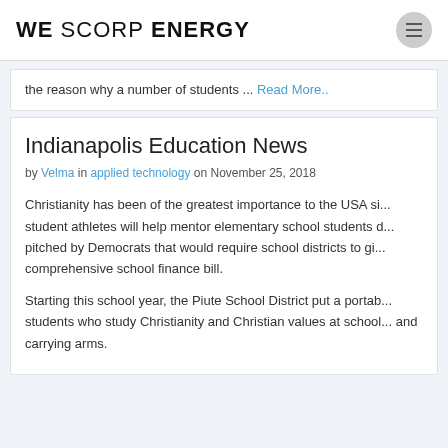WE SCORP ENERGY
the reason why a number of students ... Read More..
Indianapolis Education News
by Velma in applied technology on November 25, 2018
Christianity has been of the greatest importance to the USA si... student athletes will help mentor elementary school students d... pitched by Democrats that would require school districts to gi... comprehensive school finance bill.
Starting this school year, the Piute School District put a portab... students who study Christianity and Christian values at school... and carrying arms.